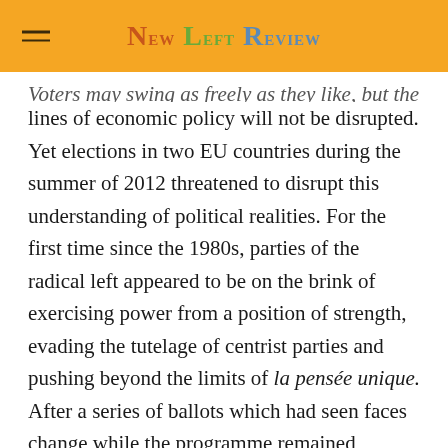New Left Review
Voters may swing as freely as they like, but the main lines of economic policy will not be disrupted. Yet elections in two EU countries during the summer of 2012 threatened to disrupt this understanding of political realities. For the first time since the 1980s, parties of the radical left appeared to be on the brink of exercising power from a position of strength, evading the tutelage of centrist parties and pushing beyond the limits of la pensée unique. After a series of ballots which had seen faces change while the programme remained identical, a more fundamental shift in the balance of forces might now be in prospect.